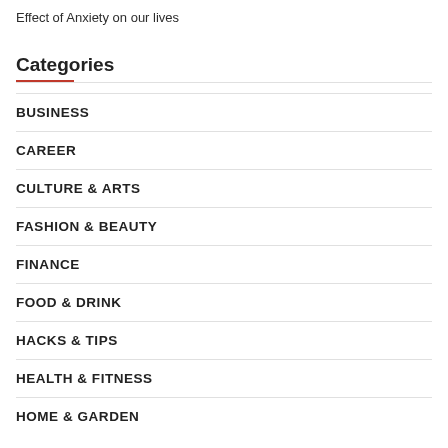Effect of Anxiety on our lives
Categories
BUSINESS
CAREER
CULTURE & ARTS
FASHION & BEAUTY
FINANCE
FOOD & DRINK
HACKS & TIPS
HEALTH & FITNESS
HOME & GARDEN